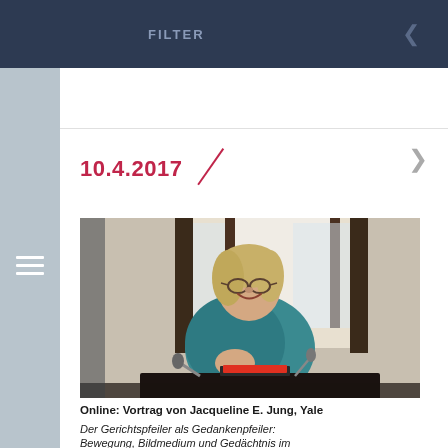Latenz in den K... / Wissenschaftspa...
FILTER
10.4.2017
[Figure (photo): Woman with glasses smiling and gesturing at a lectern in a wood-panelled room with windows behind her, wearing a teal top.]
Online: Vortrag von Jacqueline E. Jung, Yale
Der Gerichtspfeiler als Gedankenpfeiler: Bewegung, Bildmedium und Gedächtnis im